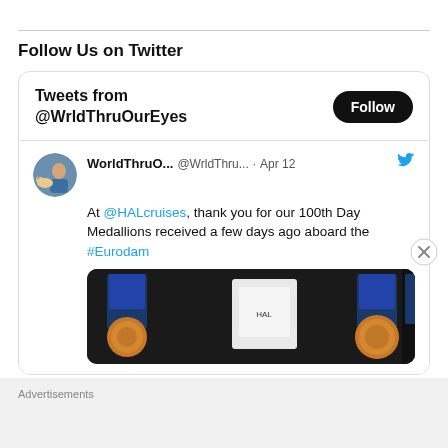Follow Us on Twitter
[Figure (screenshot): Twitter widget showing 'Tweets from @WrldThruOurEyes' with a Follow button, and a tweet from WorldThruO... (@WrldThru...) dated Apr 12 reading: 'At @HALcruises, thank you for our 100th Day Medallions received a few days ago aboard the #Eurodam' with a photo of cruise medallions.]
Advertisements